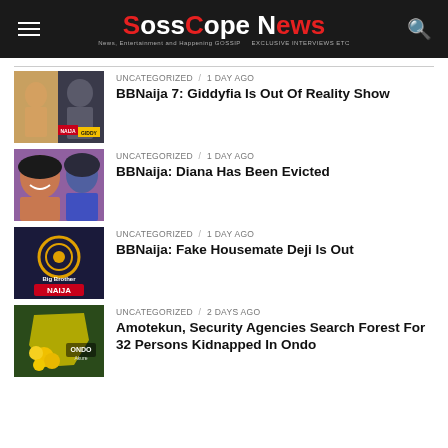SossCope News
UNCATEGORIZED / 1 day ago — BBNaija 7: Giddyfia Is Out Of Reality Show
UNCATEGORIZED / 1 day ago — BBNaija: Diana Has Been Evicted
UNCATEGORIZED / 1 day ago — BBNaija: Fake Housemate Deji Is Out
UNCATEGORIZED / 2 days ago — Amotekun, Security Agencies Search Forest For 32 Persons Kidnapped In Ondo